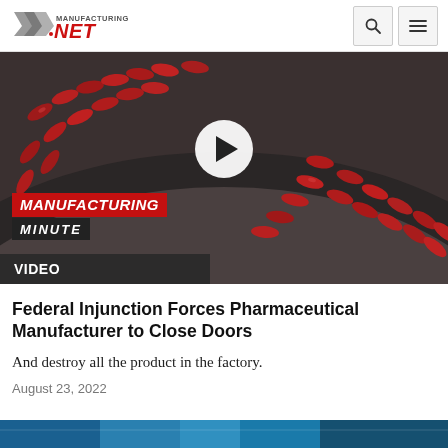Manufacturing.NET logo with search and menu icons
[Figure (screenshot): Video thumbnail showing red pharmaceutical capsules on a dark conveyor belt with a white play button overlay and 'Manufacturing Minute' branding logo in red and black]
VIDEO
Federal Injunction Forces Pharmaceutical Manufacturer to Close Doors
And destroy all the product in the factory.
August 23, 2022
[Figure (photo): Partial bottom teaser image strip (cropped)]